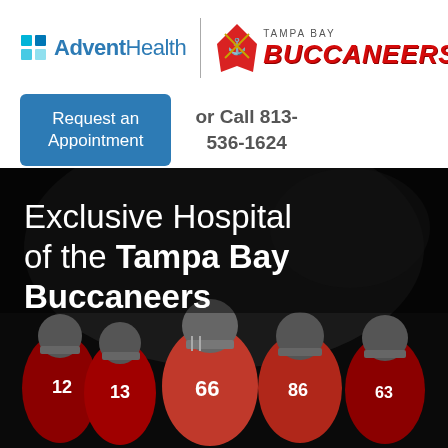[Figure (logo): AdventHealth logo with teal/blue cross squares and blue text, vertical divider, Tampa Bay Buccaneers logo with pirate ship and red stylized text]
[Figure (other): Blue rounded rectangle button with white text: Request an Appointment]
or Call 813-536-1624
[Figure (photo): Dark photo of Tampa Bay Buccaneers football players in red jerseys and helmets huddling together, with overlay text: Exclusive Hospital of the Tampa Bay Buccaneers]